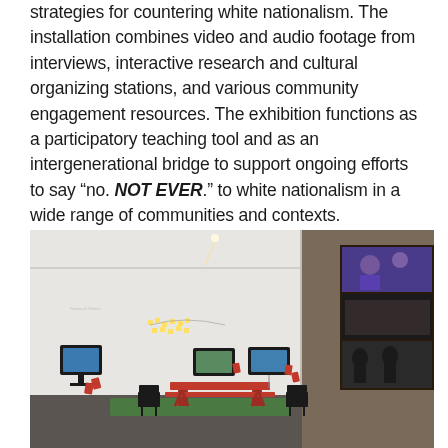strategies for countering white nationalism. The installation combines video and audio footage from interviews, interactive research and cultural organizing stations, and various community engagement resources. The exhibition functions as a participatory teaching tool and as an intergenerational bridge to support ongoing efforts to say “no. NOT EVER.” to white nationalism in a wide range of communities and contexts.
[Figure (photo): Interior view of a gallery installation showing a large, open white room with multiple flat-screen monitors on the walls and freestanding, a red picnic table in the center on a green rug, chairs, sticky notes arranged on the wall, and a large video projection on the right wall showing archival footage.]